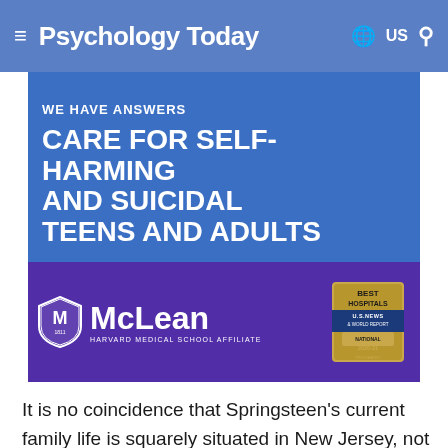Psychology Today | US
[Figure (advertisement): McLean Hospital advertisement. Top blue section reads 'WE HAVE ANSWERS / CARE FOR SELF-HARMING AND SUICIDAL TEENS AND ADULTS'. Bottom purple section shows McLean Harvard Medical School Affiliate logo and US News Best Hospitals 2020-21 National badge.]
It is no coincidence that Springsteen’s current family life is squarely situated in New Jersey, not far from the Italian/Irish neighborhood of Freehold in which he spent his earliest years. He made his bones as a musician fronting bar bands all over